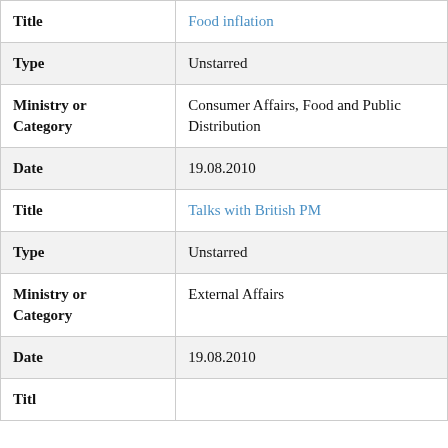| Field | Value |
| --- | --- |
| Title | Food inflation |
| Type | Unstarred |
| Ministry or Category | Consumer Affairs, Food and Public Distribution |
| Date | 19.08.2010 |
| Title | Talks with British PM |
| Type | Unstarred |
| Ministry or Category | External Affairs |
| Date | 19.08.2010 |
| Title |  |